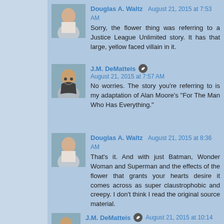Douglas A. Waltz  August 21, 2015 at 7:53 AM
Sorry, the flower thing was referring to a Justice League Unlimited story. It has that large, yellow faced villain in it.
J.M. DeMatteis  August 21, 2015 at 7:57 AM
No worries. The story you're referring to is my adaptation of Alan Moore's "For The Man Who Has Everything."
Douglas A. Waltz  August 21, 2015 at 8:36 AM
That's it. And with just Batman, Wonder Woman and Superman and the effects of the flower that grants your hearts desire it comes across as super claustrophobic and creepy. I don't think I read the original source material.
J.M. DeMatteis  August 21, 2015 at 10:14